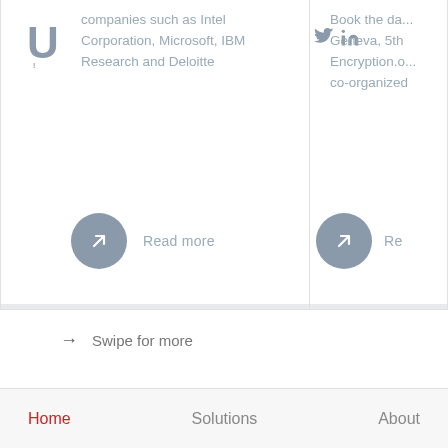companies such as Intel Corporation, Microsoft, IBM Research and Deloitte
Book the da... Geneva, 5th Encryption.o... co-organized
Read more
Re...
→ Swipe for more
Home   Solutions   About